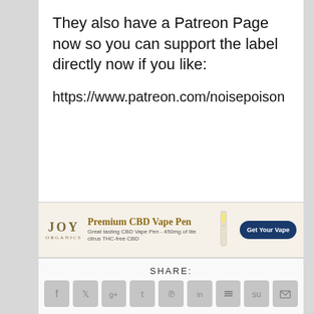They also have a Patreon Page now so you can support the label directly now if you like:
https://www.patreon.com/noisepoison
[Figure (infographic): Joy Organics advertisement banner for Premium CBD Vape Pen. Text reads: 'JOY ORGANICS', 'Premium CBD Vape Pen', 'Great tasting CBD Vape Pen - 450mg of lite citrus THC-free CBD'. Button: 'Get Your Vape']
SHARE:
[Figure (infographic): Row of 9 social share icon buttons (Facebook, Twitter, Google+, Tumblr, Pinterest, LinkedIn, Buffer, StumbleUpon, Email) in rounded gray squares]